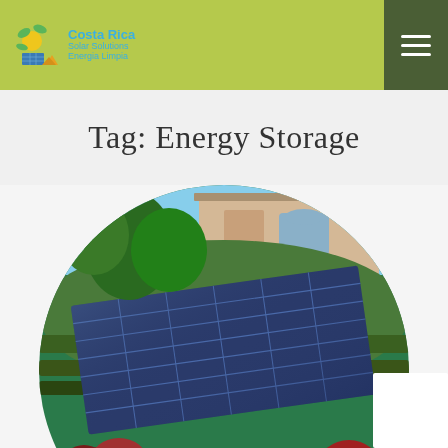Costa Rica Solar Solutions Energia Limpia
Tag: Energy Storage
[Figure (photo): Circular-cropped photo showing solar panels installed on a terraced hillside garden next to a residential building, with a silver electric car charging in the foreground, surrounded by tropical greenery and colorful red-leafed plants.]